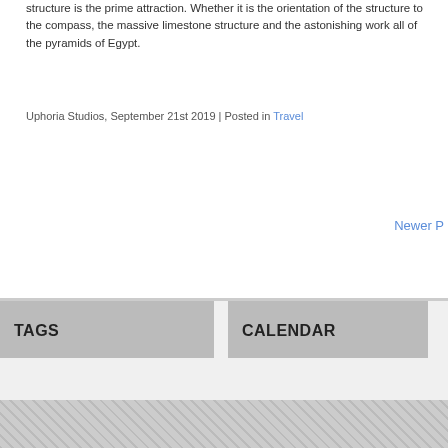structure is the prime attraction. Whether it is the orientation of the structure to the compass, the massive limestone structure and the astonishing work all of the pyramids of Egypt.
Uphoria Studios, September 21st 2019 | Posted in Travel
Newer P
TAGS
CALENDAR
| M | T | W | T | F | S | S |
| --- | --- | --- | --- | --- | --- | --- |
|  |  |  | 1 | 2 | 3 | 4 |
| 5 | 6 | 7 | 8 | 9 | 10 | 11 |
| 12 | 13 | 14 | 15 | 16 | 17 | 18 |
| 19 | 20 | 21 | 22 | 23 | 24 | 25 |
| 26 | 27 | 28 | 29 | 30 |  |  |